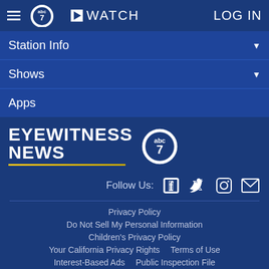WATCH   LOG IN
Station Info
Shows
Apps
[Figure (logo): Eyewitness News ABC 7 logo with gold underline]
Follow Us: [Facebook] [Twitter] [Instagram] [Email]
Privacy Policy
Do Not Sell My Personal Information
Children's Privacy Policy
Your California Privacy Rights   Terms of Use
Interest-Based Ads   Public Inspection File
FCC Applications